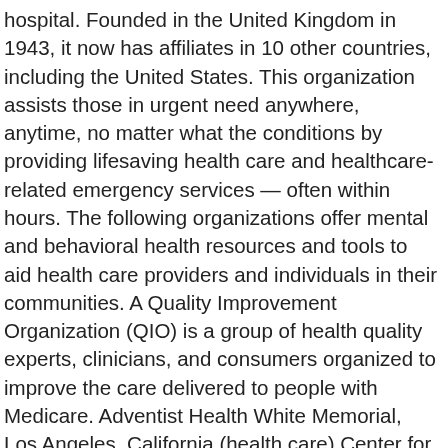hospital. Founded in the United Kingdom in 1943, it now has affiliates in 10 other countries, including the United States. This organization assists those in urgent need anywhere, anytime, no matter what the conditions by providing lifesaving health care and healthcare-related emergency services — often within hours. The following organizations offer mental and behavioral health resources and tools to aid health care providers and individuals in their communities. A Quality Improvement Organization (QIO) is a group of health quality experts, clinicians, and consumers organized to improve the care delivered to people with Medicare. Adventist Health White Memorial, Los Angeles, California (health care) Center for Organ Recovery & Education (CORE), Pittsburgh, Pennsylvania (nonprofit) City of Germantown, Germantown, Tennessee (nonprofit) Howard Community College, Columbia, Maryland (education) Illinois Municipal Retirement Fund, Oak Brook… Marriage, Family, Child & Individual Counselors Social Service Organizations. Refugee and Disaster Relief Organizations. This list of